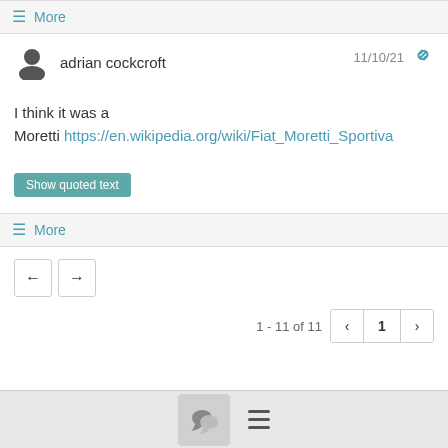≡ More
adrian cockcroft  11/10/21
I think it was a
Moretti https://en.wikipedia.org/wiki/Fiat_Moretti_Sportiva
Show quoted text
≡ More
1 - 11 of 11  1
chat  menu